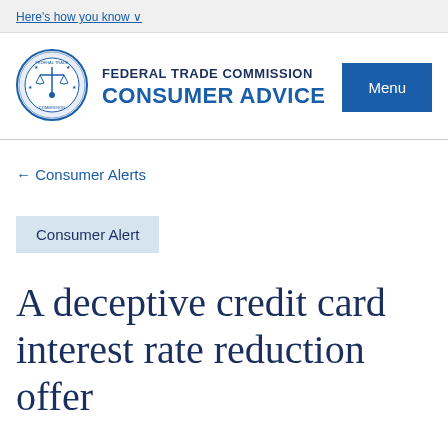Here's how you know
[Figure (logo): Federal Trade Commission official seal/logo, circular with scales of justice]
FEDERAL TRADE COMMISSION CONSUMER ADVICE
Menu
← Consumer Alerts
Consumer Alert
A deceptive credit card interest rate reduction offer